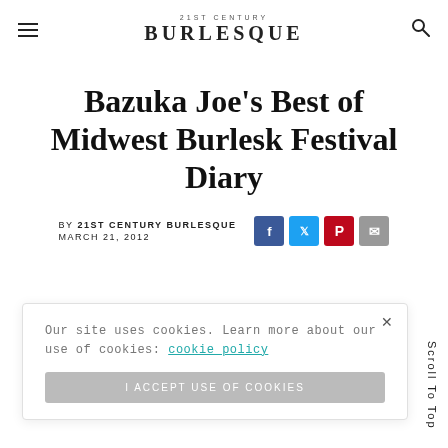21ST CENTURY BURLESQUE
Bazuka Joe’s Best of Midwest Burlesk Festival Diary
BY 21ST CENTURY BURLESQUE MARCH 21, 2012
Our site uses cookies. Learn more about our use of cookies: cookie policy
I ACCEPT USE OF COOKIES
Scroll To Top